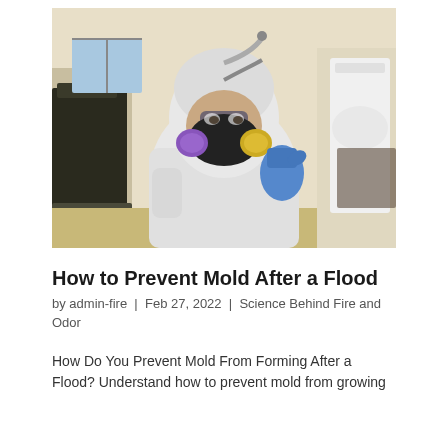[Figure (photo): A person wearing a full white hazmat suit, black respirator mask with purple and yellow filters, blue gloves, and goggles, standing in a room with mold-damaged walls giving a thumbs up.]
How to Prevent Mold After a Flood
by admin-fire | Feb 27, 2022 | Science Behind Fire and Odor
How Do You Prevent Mold From Forming After a Flood? Understand how to prevent mold from growing